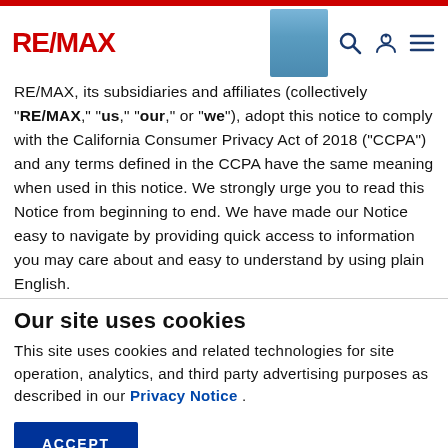RE/MAX header with logo and navigation icons
RE/MAX, its subsidiaries and affiliates (collectively "RE/MAX," "us," "our," or "we"), adopt this notice to comply with the California Consumer Privacy Act of 2018 ("CCPA") and any terms defined in the CCPA have the same meaning when used in this notice. We strongly urge you to read this Notice from beginning to end. We have made our Notice easy to navigate by providing quick access to information you may care about and easy to understand by using plain English.
Our site uses cookies
This site uses cookies and related technologies for site operation, analytics, and third party advertising purposes as described in our Privacy Notice .
ACCEPT